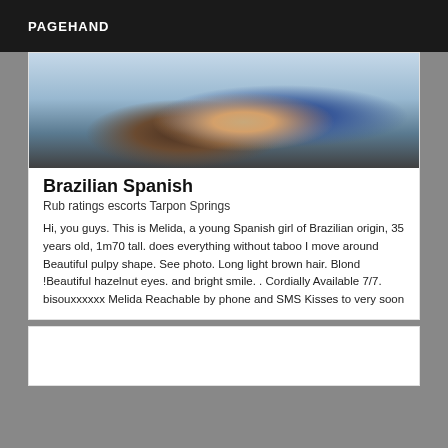PAGEHAND
[Figure (photo): Photograph showing legs/feet of a person, outdoor setting with cloudy sky, people in background]
Brazilian Spanish
Rub ratings escorts Tarpon Springs
Hi, you guys. This is Melida, a young Spanish girl of Brazilian origin, 35 years old, 1m70 tall. does everything without taboo I move around Beautiful pulpy shape. See photo. Long light brown hair. Blond !Beautiful hazelnut eyes. and bright smile. . Cordially Available 7/7. bisouxxxxxx Melida Reachable by phone and SMS Kisses to very soon